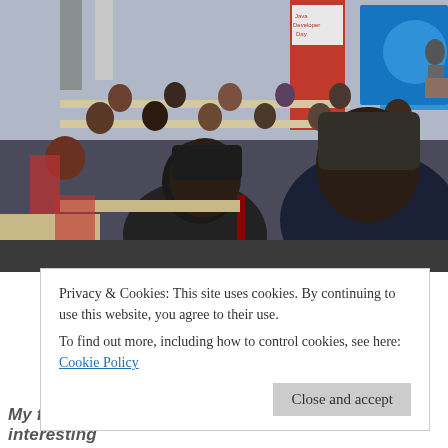[Figure (photo): A conference or seminar room scene. Audience members are seated at desks facing a presenter (a woman) at the front of the room, who stands at a podium. A banner reading 'Java Developer Day' is visible. A projection screen with a blue background is on the right. The foreground shows the backs of two attendees' heads and shoulders.]
Privacy & Cookies: This site uses cookies. By continuing to use this website, you agree to their use.
To find out more, including how to control cookies, see here: Cookie Policy
Close and accept
My friend Panagious has pointed out and interesting